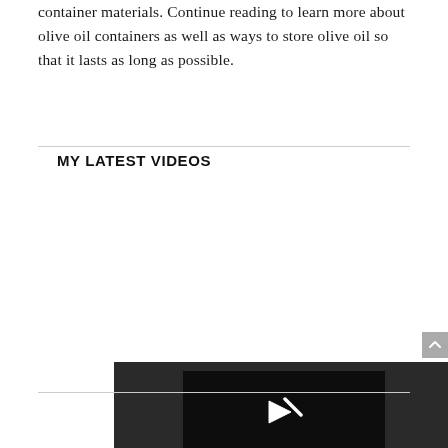container materials. Continue reading to learn more about olive oil containers as well as ways to store olive oil so that it lasts as long as possible.
MY LATEST VIDEOS
[Figure (screenshot): Video player showing error message: The video cannot be played in this browser. (Error Code: 242632)]